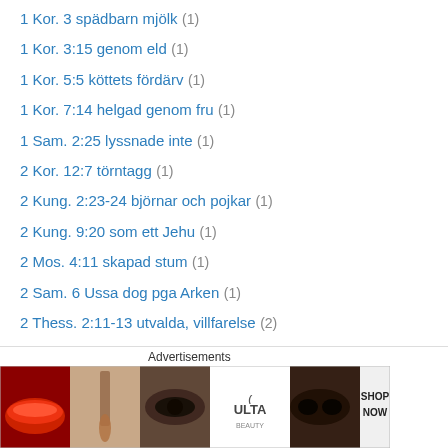1 Kor. 3 spädbarn mjölk (1)
1 Kor. 3:15 genom eld (1)
1 Kor. 5:5 köttets fördärv (1)
1 Kor. 7:14 helgad genom fru (1)
1 Sam. 2:25 lyssnade inte (1)
2 Kor. 12:7 törntagg (1)
2 Kung. 2:23-24 björnar och pojkar (1)
2 Kung. 9:20 som ett Jehu (1)
2 Mos. 4:11 skapad stum (1)
2 Sam. 6 Ussa dog pga Arken (1)
2 Thess. 2:11-13 utvalda, villfarelse (2)
2 Tim. 2:13 förbli trofast (1)
4 Mos. 15:32-35 samla ved (1)
4 Mos. 31:18 fångna flickor (1)
5 Mos. 21 stena son (2)
5 Mos. 22 motvilia ei oskuld (1)
[Figure (infographic): Advertisement banner for ULTA beauty showing makeup imagery with 'SHOP NOW' text]
Advertisements